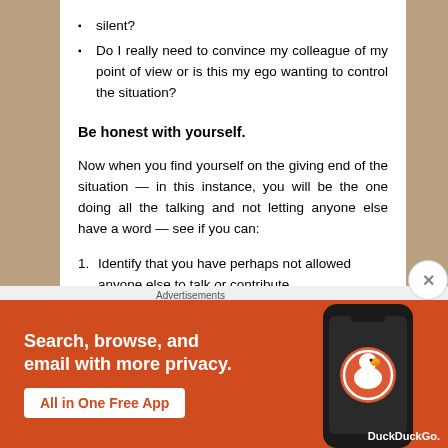silent?
Do I really need to convince my colleague of my point of view or is this my ego wanting to control the situation?
Be honest with yourself.
Now when you find yourself on the giving end of the situation — in this instance, you will be the one doing all the talking and not letting anyone else have a word — see if you can:
Identify that you have perhaps not allowed anyone else to talk or contribute.
Can you stop talking once this awareness has
[Figure (infographic): DuckDuckGo advertisement banner with orange background, text 'Search, browse, and email with more privacy. All in One Free App' and a phone image with DuckDuckGo logo]